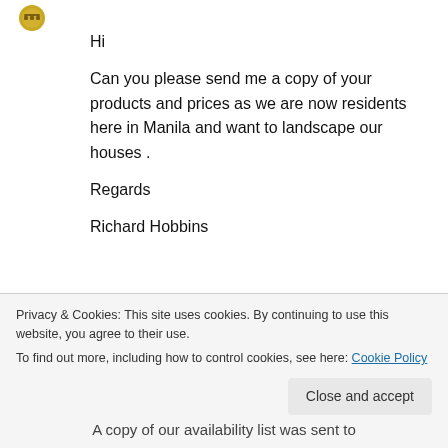[Figure (logo): Small circular logo/badge with gold/yellow color at top left]
Hi
Can you please send me a copy of your products and prices as we are now residents here in Manila and want to landscape our houses .
Regards
Richard Hobbins
↪ Reply
Privacy & Cookies: This site uses cookies. By continuing to use this website, you agree to their use.
To find out more, including how to control cookies, see here: Cookie Policy
Close and accept
A copy of our availability list was sent to